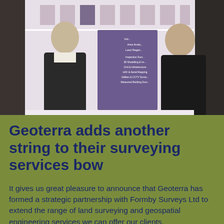[Figure (photo): Two men in suits standing together at an event, holding a purple Geoterra display board listing surveying services including Inspection Surveys, 3D Modelling, Civil & Infrastructure, UAV & Aerial Mapping, Utilities & CCTV Surveys, Measured Building Surveys.]
Geoterra adds another string to their surveying services bow
It gives us great pleasure to announce that Geoterra has formed a strategic partnership with Formby Surveys Ltd to extend the range of land surveying and geospatial engineering services we can offer our clients.
Formby Surveys, who have offices in Liverpool and London, boast significant experience in providing high-end building surveying services. In addition to their traditional surveying services, they also offer measured building surveys, 3D laser scan surveys, 3D modelling